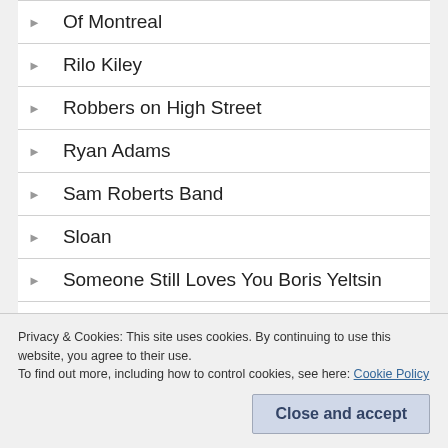Of Montreal
Rilo Kiley
Robbers on High Street
Ryan Adams
Sam Roberts Band
Sloan
Someone Still Loves You Boris Yeltsin
The Morning Benders
Privacy & Cookies: This site uses cookies. By continuing to use this website, you agree to their use.
To find out more, including how to control cookies, see here: Cookie Policy
Close and accept